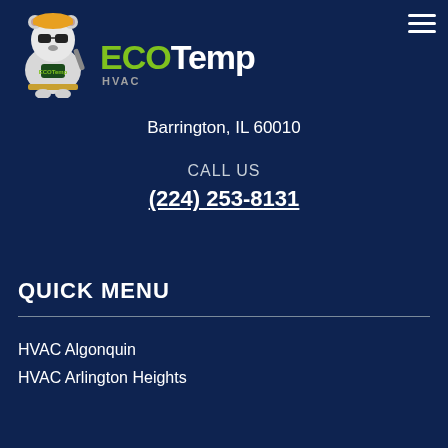[Figure (logo): ECOTemp HVAC logo with polar bear mascot holding HVAC tools, green and white text reading ECOTemp HVAC]
Barrington, IL 60010
CALL US
(224) 253-8131
QUICK MENU
HVAC Algonquin
HVAC Arlington Heights